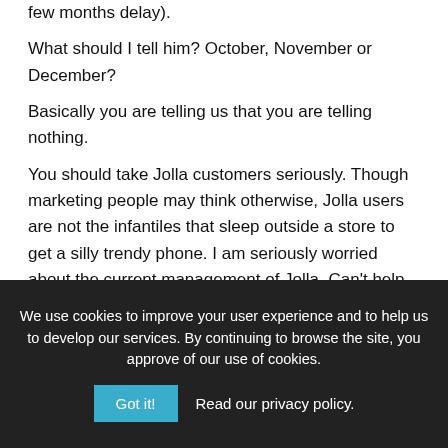few months delay).
What should I tell him? October, November or December?
Basically you are telling us that you are telling nothing.

You should take Jolla customers seriously. Though marketing people may think otherwise, Jolla users are not the infantiles that sleep outside a store to get a silly trendy phone. I am seriously worried about the current management of Jolla. Can't help smelling a strong Google/Apple scent along this latest briefing.
We use cookies to improve your user experience and to help us to develop our services. By continuing to browse the site, you approve of our use of cookies.
Got it!   Read our privacy policy.